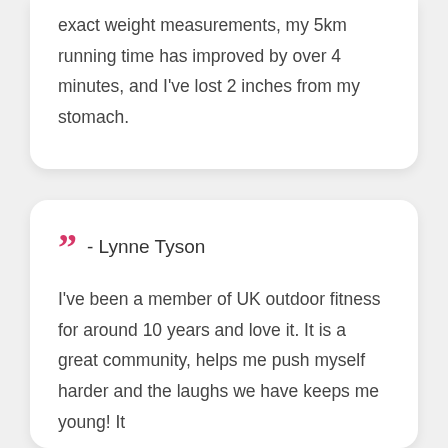exact weight measurements, my 5km running time has improved by over 4 minutes, and I've lost 2 inches from my stomach.
- Lynne Tyson
I've been a member of UK outdoor fitness for around 10 years and love it. It is a great community, helps me push myself harder and the laughs we have keeps me young! It